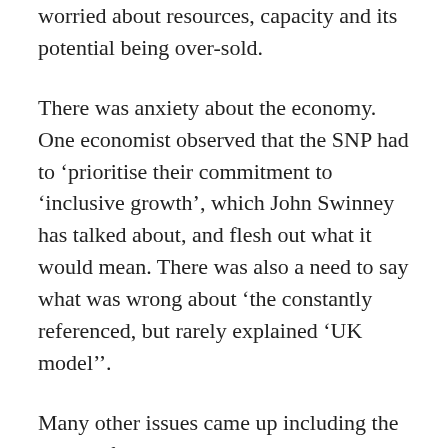worried about resources, capacity and its potential being over-sold.
There was anxiety about the economy. One economist observed that the SNP had to 'prioritise their commitment to 'inclusive growth', which John Swinney has talked about, and flesh out what it would mean. There was also a need to say what was wrong about 'the constantly referenced, but rarely explained 'UK model''.
Many other issues came up including the need to focus on taxation powers and supporting low income households, strengthening local democracy and halting command and control centralisation, while acknowledging the huge cuts which arts and culture bodies will face. A recurring theme was: treat us as adults. Be honest. We know tough times are coming